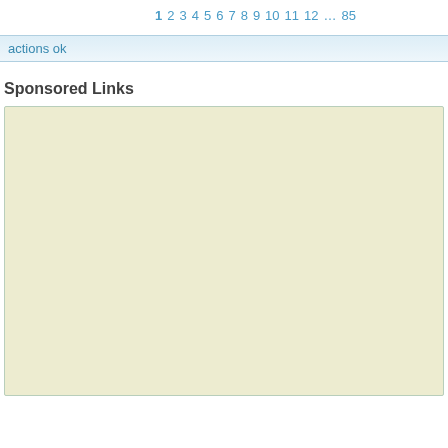1 2 3 4 5 6 7 8 9 10 11 12 … 85
actions ok
Sponsored Links
[Figure (other): Empty cream/beige sponsored links advertisement box]